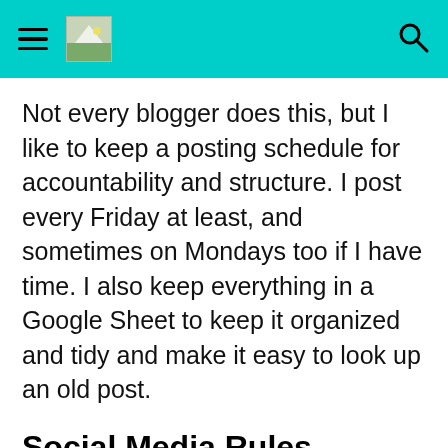[hamburger menu] [logo] [search icon]
Not every blogger does this, but I like to keep a posting schedule for accountability and structure. I post every Friday at least, and sometimes on Mondays too if I have time. I also keep everything in a Google Sheet to keep it organized and tidy and make it easy to look up an old post.
Social Media Rules
Golden rule: Be active, not spammy.
We should all be supportive of each other, but